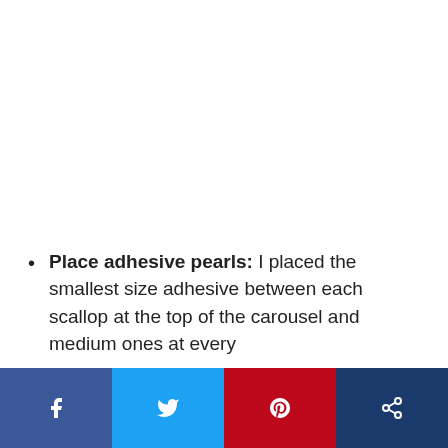Place adhesive pearls: I placed the smallest size adhesive between each scallop at the top of the carousel and medium ones at every
Social share bar with Facebook, Twitter, Pinterest, and Share buttons